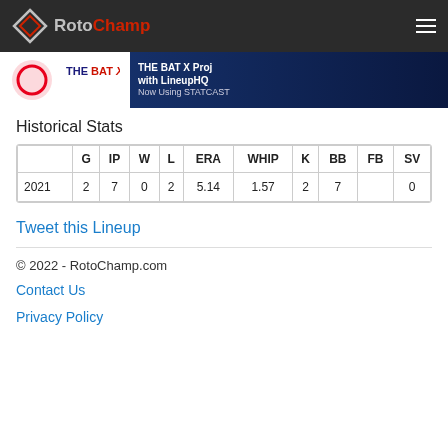RotoChamp
[Figure (other): THE BAT X promotional banner with LineupHQ, Now Using STATCAST]
Historical Stats
|  | G | IP | W | L | ERA | WHIP | K | BB | FB | SV |
| --- | --- | --- | --- | --- | --- | --- | --- | --- | --- | --- |
| 2021 | 2 | 7 | 0 | 2 | 5.14 | 1.57 | 2 | 7 |  | 0 |
Tweet this Lineup
© 2022 - RotoChamp.com
Contact Us
Privacy Policy